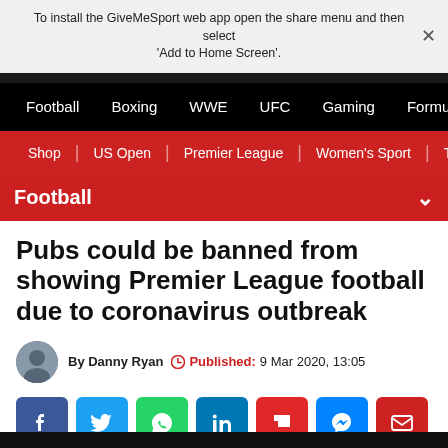To install the GiveMeSport web app open the share menu and then select 'Add to Home Screen'.
[Figure (screenshot): GiveMeSport navigation bar with Football, Boxing, WWE, UFC, Gaming, Formula 1 links on black background]
[Figure (screenshot): Red sub-navigation bar with Shop, US Open, Premier League, Women's Sport, The Fo links]
Football
Pubs could be banned from showing Premier League football due to coronavirus outbreak
By Danny Ryan  Published: 9 Mar 2020, 13:05
[Figure (infographic): Social sharing icons: Facebook, Twitter, WhatsApp, LinkedIn, Flipboard, Messenger, Email]